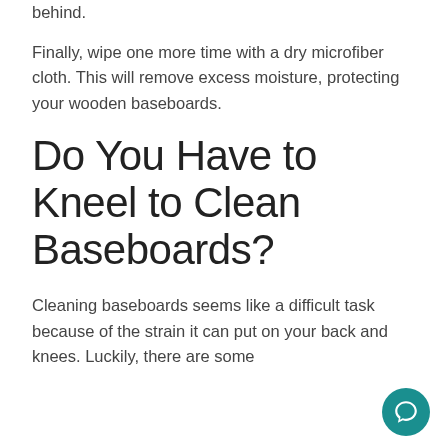behind.
Finally, wipe one more time with a dry microfiber cloth. This will remove excess moisture, protecting your wooden baseboards.
Do You Have to Kneel to Clean Baseboards?
Cleaning baseboards seems like a difficult task because of the strain it can put on your back and knees. Luckily, there are some